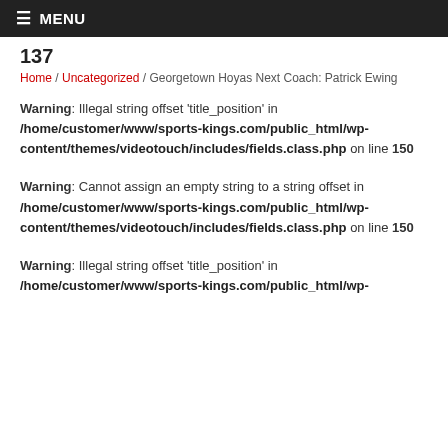≡ MENU
137
Home / Uncategorized / Georgetown Hoyas Next Coach: Patrick Ewing
Warning: Illegal string offset 'title_position' in /home/customer/www/sports-kings.com/public_html/wp-content/themes/videotouch/includes/fields.class.php on line 150
Warning: Cannot assign an empty string to a string offset in /home/customer/www/sports-kings.com/public_html/wp-content/themes/videotouch/includes/fields.class.php on line 150
Warning: Illegal string offset 'title_position' in /home/customer/www/sports-kings.com/public_html/wp-